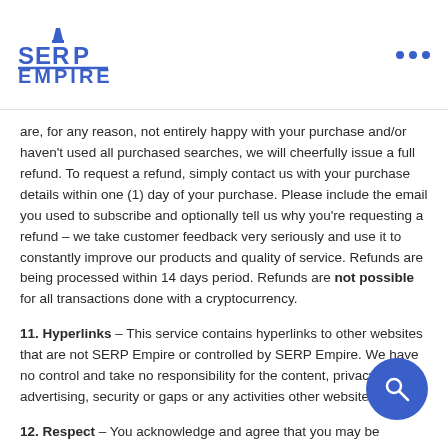SERP EMPIRE
are, for any reason, not entirely happy with your purchase and/or haven't used all purchased searches, we will cheerfully issue a full refund. To request a refund, simply contact us with your purchase details within one (1) day of your purchase. Please include the email you used to subscribe and optionally tell us why you're requesting a refund – we take customer feedback very seriously and use it to constantly improve our products and quality of service. Refunds are being processed within 14 days period. Refunds are not possible for all transactions done with a cryptocurrency.
11. Hyperlinks – This service contains hyperlinks to other websites that are not SERP Empire or controlled by SERP Empire. We have no control and take no responsibility for the content, privacy policy, advertising, security or gaps or any activities other websites.
12. Respect – You acknowledge and agree that you may be exposed to content while using the services offered, which are inaccurate, offensive, indecent or factual basis for any other reason can be perceived by you as a nuisance. You hereby waive any and all rights and remedies, you might be entitled in